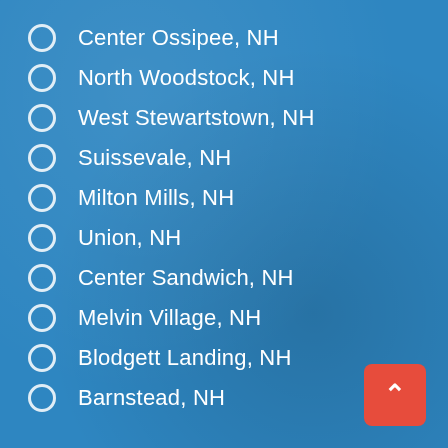Center Ossipee, NH
North Woodstock, NH
West Stewartstown, NH
Suissevale, NH
Milton Mills, NH
Union, NH
Center Sandwich, NH
Melvin Village, NH
Blodgett Landing, NH
Barnstead, NH